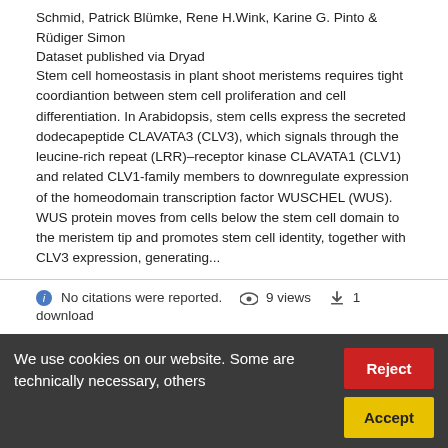Schmid, Patrick Blümke, Rene H.Wink, Karine G. Pinto & Rüdiger Simon
Dataset published via Dryad
Stem cell homeostasis in plant shoot meristems requires tight coordiantion between stem cell proliferation and cell differentiation. In Arabidopsis, stem cells express the secreted dodecapeptide CLAVATA3 (CLV3), which signals through the leucine-rich repeat (LRR)–receptor kinase CLAVATA1 (CLV1) and related CLV1-family members to downregulate expression of the homeodomain transcription factor WUSCHEL (WUS). WUS protein moves from cells below the stem cell domain to the meristem tip and promotes stem cell identity, together with CLV3 expression, generating...
No citations were reported.   9 views   1 download